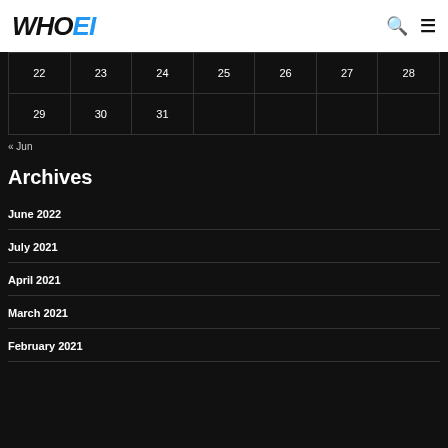WHOEI
| 22 | 23 | 24 | 25 | 26 | 27 | 28 |
| 29 | 30 | 31 |  |  |  |  |
« Jun
Archives
June 2022
July 2021
April 2021
March 2021
February 2021